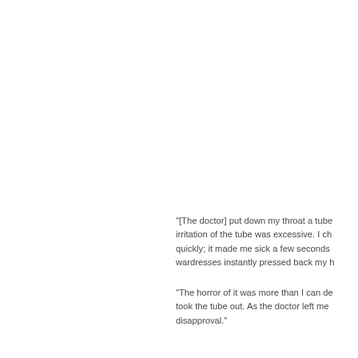"[The doctor] put down my throat a tube... irritation of the tube was excessive. I ch... quickly; it made me sick a few seconds ... wardresses instantly pressed back my h...
"The horror of it was more than I can de... took the tube out. As the doctor left me ... disapproval."